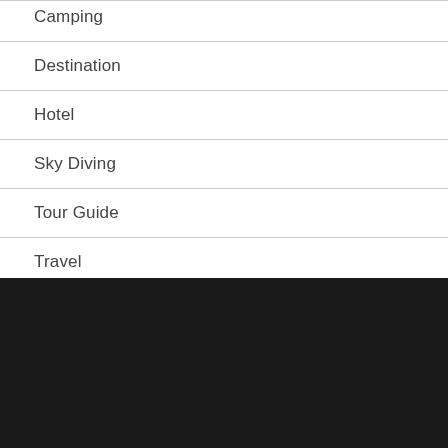Camping
Destination
Hotel
Sky Diving
Tour Guide
Travel